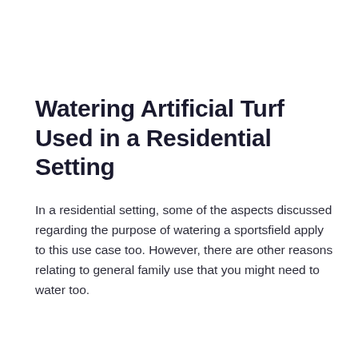Watering Artificial Turf Used in a Residential Setting
In a residential setting, some of the aspects discussed regarding the purpose of watering a sportsfield apply to this use case too. However, there are other reasons relating to general family use that you might need to water too.